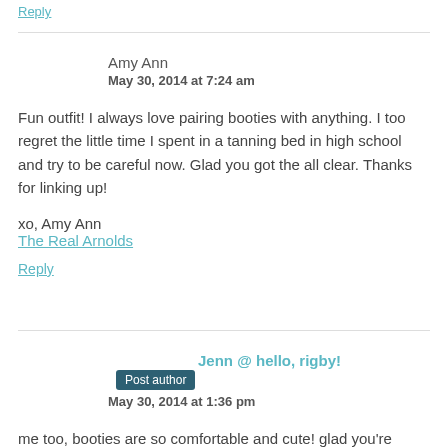Reply
Amy Ann
May 30, 2014 at 7:24 am
Fun outfit! I always love pairing booties with anything. I too regret the little time I spent in a tanning bed in high school and try to be careful now. Glad you got the all clear. Thanks for linking up!
xo, Amy Ann
The Real Arnolds
Reply
Jenn @ hello, rigby! Post author
May 30, 2014 at 1:36 pm
me too, booties are so comfortable and cute! glad you're careful now,